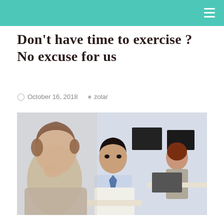Don't have time to exercise ? No excuse for us
October 16, 2018   zolar
[Figure (photo): Office scene with three professionals working at desks. In the foreground, a blurred woman with brown curly hair resting her chin on her hand. In the center, an Asian man in a light blue shirt and blue tie looking at papers. In the background, a red-haired woman sitting at a computer.]